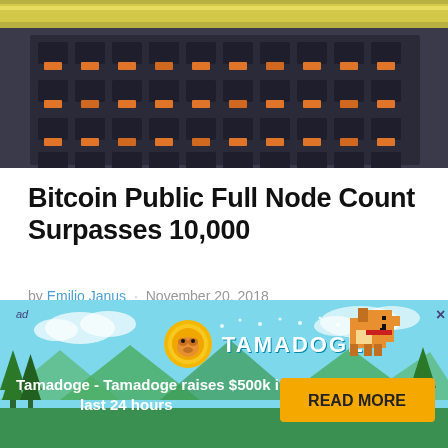[Figure (photo): Close-up photo of network server rack showing ethernet ports and cables, dark metallic equipment with orange cable connectors]
Bitcoin Public Full Node Count Surpasses 10,000
by Emilio Janus · November 20, 2018
[Figure (other): Advertisement banner for Tamadoge showing coin logo, pixel dog mascot, text 'Tamadoge - Tamadoge raises $500k in last 24 hours' with READ MORE button on light blue background with mountain/tree scenery]